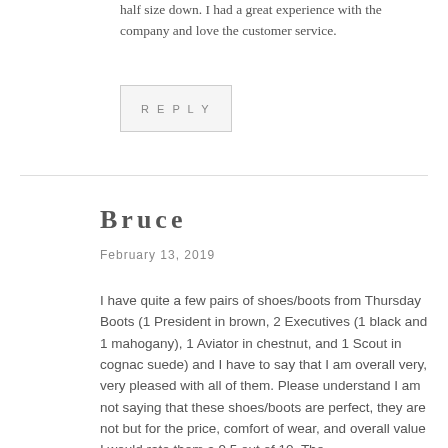half size down. I had a great experience with the company and love the customer service.
REPLY
Bruce
February 13, 2019
I have quite a few pairs of shoes/boots from Thursday Boots (1 President in brown, 2 Executives (1 black and 1 mahogany), 1 Aviator in chestnut, and 1 Scout in cognac suede) and I have to say that I am overall very, very pleased with all of them. Please understand I am not saying that these shoes/boots are perfect, they are not but for the price, comfort of wear, and overall value I would rate them a 9.5 out of 10. The